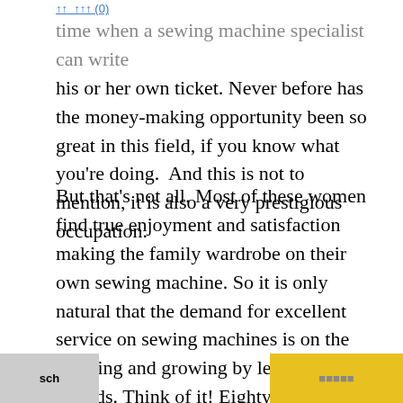↑↑ ↑↑↑ (0)
time when a sewing machine specialist can write his or her own ticket. Never before has the money-making opportunity been so great in this field, if you know what you're doing.  And this is not to mention, it is also a very prestigious occupation.
But that's not all. Most of these women find true enjoyment and satisfaction making the family wardrobe on their own sewing machine. So it is only natural that the demand for excellent service on sewing machines is on the upswing and growing by leaps and bounds. Think of it! Eighty-nine million or more sewing machines, not including another 10 million sewing machines in schools of all sorts, (such as grade schools